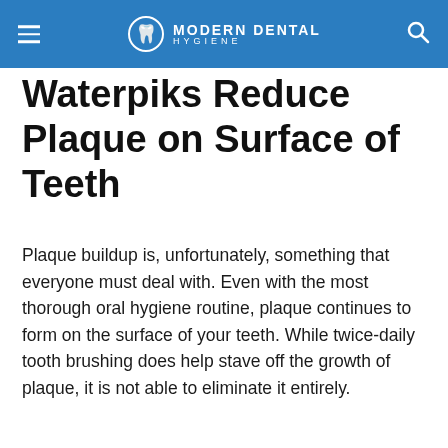MODERN DENTAL HYGIENE
Waterpiks Reduce Plaque on Surface of Teeth
Plaque buildup is, unfortunately, something that everyone must deal with. Even with the most thorough oral hygiene routine, plaque continues to form on the surface of your teeth. While twice-daily tooth brushing does help stave off the growth of plaque, it is not able to eliminate it entirely.